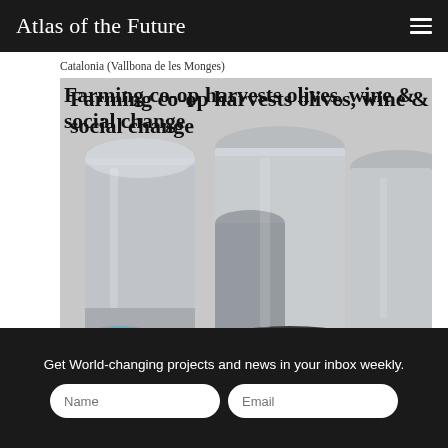Atlas of the Future
Catalonia (Vallbona de les Monges)
Farming co-op harvests olives, wine & social change
[Figure (photo): Interior of a farming cooperative processing facility showing large stainless steel tanks, barrels, and containers used for olive oil or wine production. Various silver cylindrical vats of different sizes fill the space.]
Get World-changing projects and news in your inbox weekly.